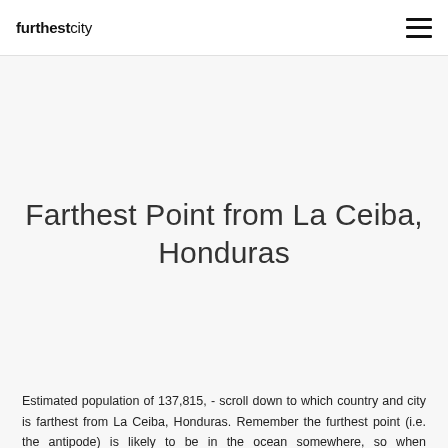furthestcity
Farthest Point from La Ceiba, Honduras
Estimated population of 137,815, - scroll down to which country and city is farthest from La Ceiba, Honduras. Remember the furthest point (i.e. the antipode) is likely to be in the ocean somewhere, so when considering which point is the farthest away, you need to really look at cities. We provide information for the farthest cities with